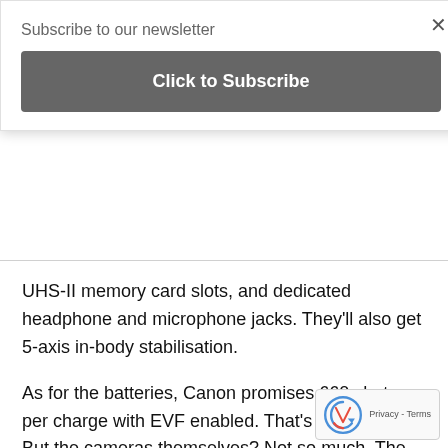Subscribe to our newsletter
Click to Subscribe
UHS-II memory card slots, and dedicated headphone and microphone jacks. They'll also get 5-axis in-body stabilisation.
As for the batteries, Canon promises 660 shots per charge with EVF enabled. That's pretty heavy. But the cameras themselves? Not so much. The EOS R7 tips the scales at just 612g.
If you're looking to shoot some video, the R7 can use the whole sensor to do 4K at 30fps or 4K at 60fps. But will be sub-sampled. If you want to shoot in 4K, it will have to